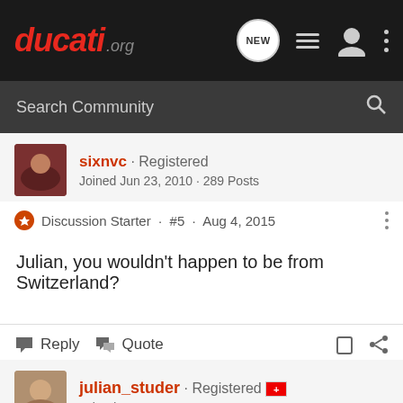[Figure (screenshot): ducati.org forum navigation bar with logo and icons]
[Figure (screenshot): Search Community search bar]
sixnvc · Registered
Joined Jun 23, 2010 · 289 Posts
Discussion Starter · #5 · Aug 4, 2015
Julian, you wouldn't happen to be from Switzerland?
Reply  Quote
julian_studer · Registered
Joined May 1, 2015 · 58 Posts